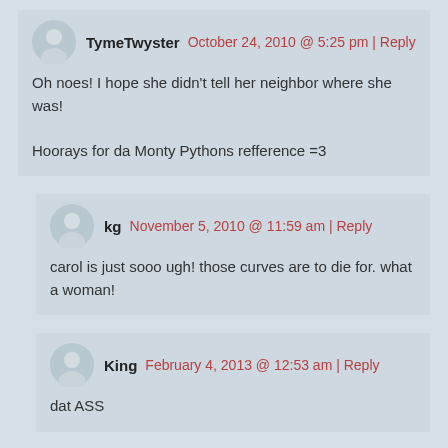TymeTwyster  October 24, 2010 @ 5:25 pm | Reply
Oh noes! I hope she didn't tell her neighbor where she was!
Hoorays for da Monty Pythons refference =3
kg  November 5, 2010 @ 11:59 am | Reply
carol is just sooo ugh! those curves are to die for. what a woman!
King  February 4, 2013 @ 12:53 am | Reply
dat ASS
Grimjac100  March 27, 2015 @ 11:36 am | Reply